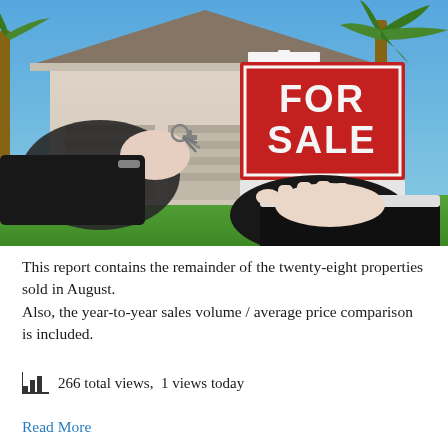[Figure (photo): A hand handing keys to another open hand in front of a house and a red FOR SALE sign with a white picket sign post, blue sky and palm tree in background]
This report contains the remainder of the twenty-eight properties sold in August.
Also, the year-to-year sales volume / average price comparison is included.
266 total views,  1 views today
Read More